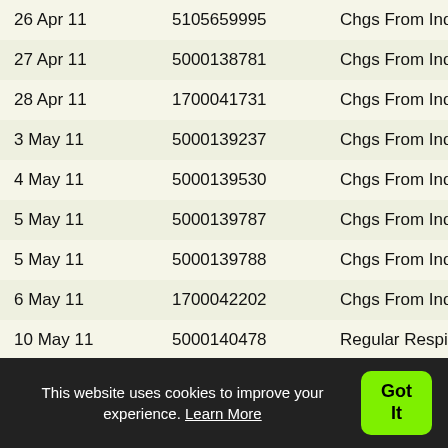| Date | Number | Description |
| --- | --- | --- |
| 26 Apr 11 | 5105659995 | Chgs From Ind |
| 27 Apr 11 | 5000138781 | Chgs From Ind |
| 28 Apr 11 | 1700041731 | Chgs From Ind |
| 3 May 11 | 5000139237 | Chgs From Ind |
| 4 May 11 | 5000139530 | Chgs From Ind |
| 5 May 11 | 5000139787 | Chgs From Ind |
| 5 May 11 | 5000139788 | Chgs From Ind |
| 6 May 11 | 1700042202 | Chgs From Ind |
| 10 May 11 | 5000140478 | Regular Respite |
| 10 May 11 | 5000140476 | Regular Respite |
| 10 May 11 | 5000140517 | Chgs From Ind |
| 10 May 11 | 5000140509 | Chgs From Ind |
| 18 May 11 | 1700042713 | Chgs From Ind |
This website uses cookies to improve your experience. Learn More